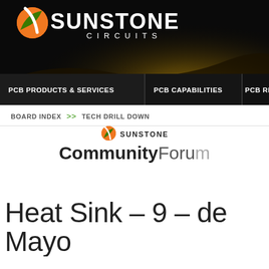[Figure (logo): Sunstone Circuits website header banner with logo, dark background with golden wave glow, and navigation bar showing PCB PRODUCTS & SERVICES, PCB CAPABILITIES, PCB RES...]
BOARD INDEX >> TECH DRILL DOWN
[Figure (logo): Sunstone Community Forum logo with small Sunstone icon and bold Community Forum text]
Heat Sink – 9 – de Mayo